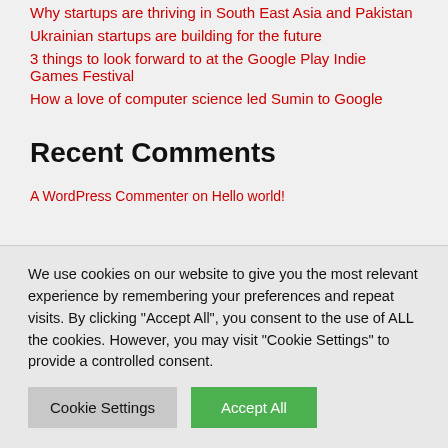Why startups are thriving in South East Asia and Pakistan
Ukrainian startups are building for the future
3 things to look forward to at the Google Play Indie Games Festival
How a love of computer science led Sumin to Google
Recent Comments
A WordPress Commenter on Hello world!
We use cookies on our website to give you the most relevant experience by remembering your preferences and repeat visits. By clicking "Accept All", you consent to the use of ALL the cookies. However, you may visit "Cookie Settings" to provide a controlled consent.
Cookie Settings | Accept All